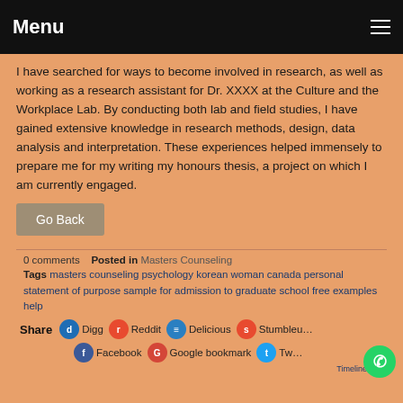Menu
I have searched for ways to become involved in research, as well as working as a research assistant for Dr. XXXX at the Culture and the Workplace Lab. By conducting both lab and field studies, I have gained extensive knowledge in research methods, design, data analysis and interpretation. These experiences helped immensely to prepare me for my writing my honours thesis, a project on which I am currently engaged.
Go Back
0 comments   Posted in Masters Counseling
Tags masters counseling psychology korean woman canada personal statement of purpose sample for admission to graduate school free examples help
Share  Digg  Reddit  Delicious  StumbleUpon  Facebook  Google bookmark  Twitter